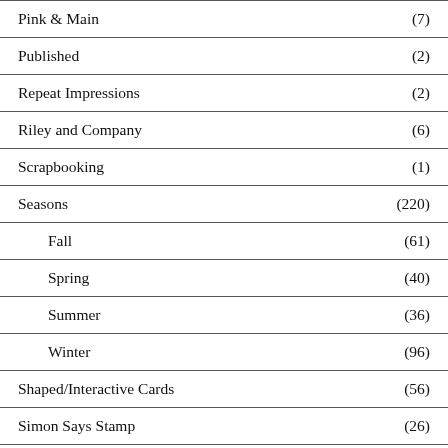Pink & Main (7)
Published (2)
Repeat Impressions (2)
Riley and Company (6)
Scrapbooking (1)
Seasons (220)
Fall (61)
Spring (40)
Summer (36)
Winter (96)
Shaped/Interactive Cards (56)
Simon Says Stamp (26)
Slimline cards (11)